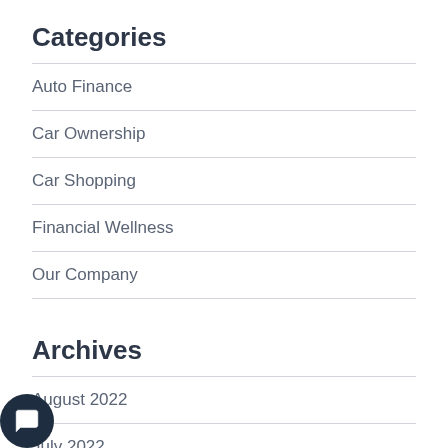Categories
Auto Finance
Car Ownership
Car Shopping
Financial Wellness
Our Company
Archives
August 2022
July 2022
June 2022
May 2022
April 2022